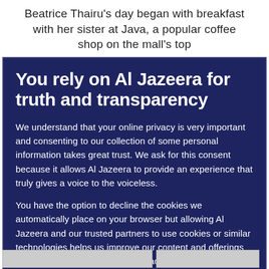Beatrice Thairu's day began with breakfast with her sister at Java, a popular coffee shop on the mall's top
You rely on Al Jazeera for truth and transparency
We understand that your online privacy is very important and consenting to our collection of some personal information takes great trust. We ask for this consent because it allows Al Jazeera to provide an experience that truly gives a voice to the voiceless.
You have the option to decline the cookies we automatically place on your browser but allowing Al Jazeera and our trusted partners to use cookies or similar technologies helps us improve our content and offerings to you. You can change your privacy preferences at any time by selecting ‘Cookie preferences’ at the bottom of your screen. To learn more, please view our Cookie Policy.